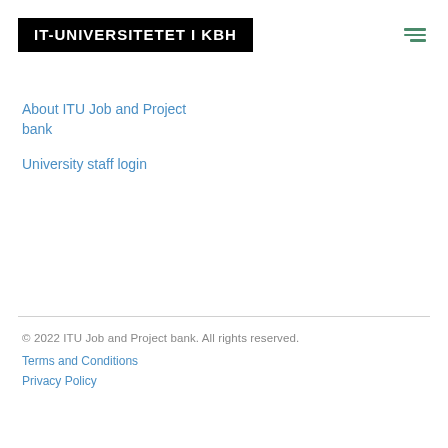IT-UNIVERSITETET I KBH
About ITU Job and Project bank
University staff login
© 2022 ITU Job and Project bank. All rights reserved.
Terms and Conditions
Privacy Policy